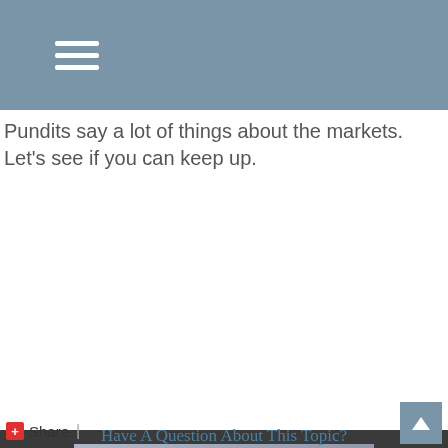[Figure (other): Navigation header bar with hamburger menu icon (three horizontal white lines) on a steel blue/slate background]
Pundits say a lot of things about the markets. Let's see if you can keep up.
[Figure (screenshot): Video thumbnail showing '16 Wall Street Clichés in 60 Seconds' with a play button overlay on a gray gradient background]
Share  |
Have A Question About This Topic?